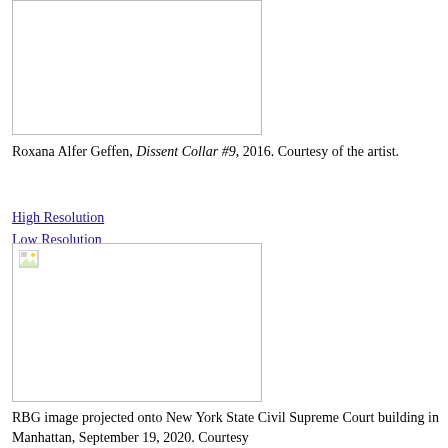[Figure (photo): Placeholder image (broken/missing) representing Roxana Alfer Geffen Dissent Collar #9 artwork]
Roxana Alfer Geffen, Dissent Collar #9, 2016. Courtesy of the artist.
High Resolution
Low Resolution
[Figure (photo): Placeholder image (broken/missing) representing RBG image projected onto New York State Civil Supreme Court building in Manhattan, September 19, 2020]
RBG image projected onto New York State Civil Supreme Court building in Manhattan, September 19, 2020. Courtesy